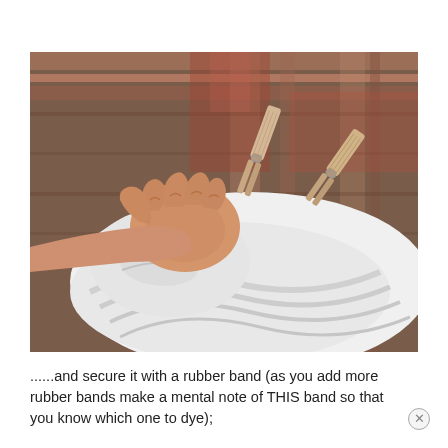[Figure (photo): A hand gripping a bunched white fabric/shirt on a patterned rug background, with two wooden clothespins clipped to the fabric, demonstrating a tie-dye preparation technique.]
......and secure it with a rubber band (as you add more rubber bands make a mental note of THIS band so that you know which one to dye);